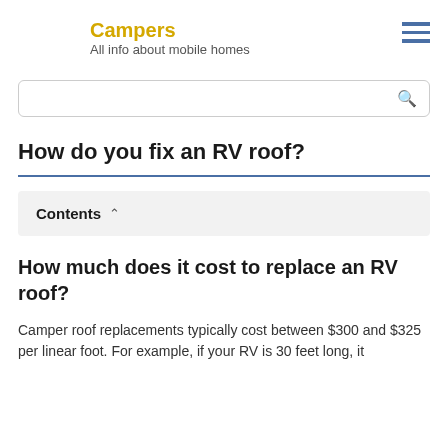Campers
All info about mobile homes
How do you fix an RV roof?
Contents
How much does it cost to replace an RV roof?
Camper roof replacements typically cost between $300 and $325 per linear foot. For example, if your RV is 30 feet long, it